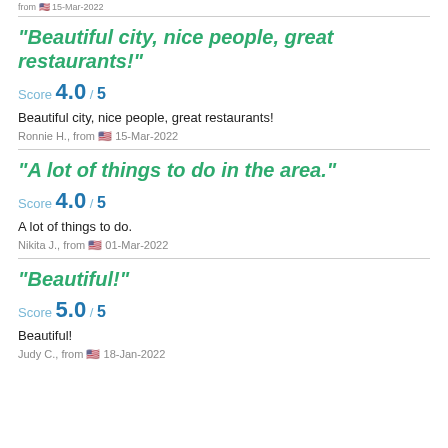from 🇺🇸 15-Mar-2022
"Beautiful city, nice people, great restaurants!"
Score 4.0 / 5
Beautiful city, nice people, great restaurants!
Ronnie H., from 🇺🇸 15-Mar-2022
"A lot of things to do in the area."
Score 4.0 / 5
A lot of things to do.
Nikita J., from 🇺🇸 01-Mar-2022
"Beautiful!"
Score 5.0 / 5
Beautiful!
Judy C., from 🇺🇸 18-Jan-2022